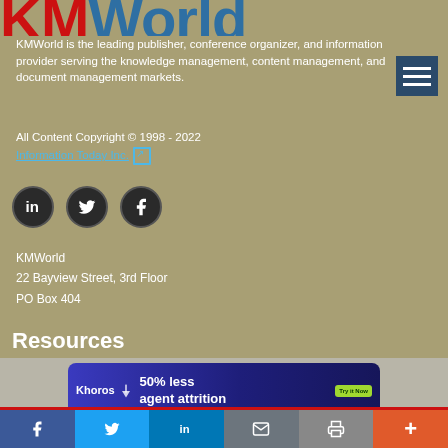[Figure (logo): KMWorld logo in red and blue large text]
KMWorld is the leading publisher, conference organizer, and information provider serving the knowledge management, content management, and document management markets.
All Content Copyright © 1998 - 2022
Information Today Inc. [external link icon]
[Figure (illustration): LinkedIn, Twitter, Facebook social media circular icons]
KMWorld
22 Bayview Street, 3rd Floor
PO Box 404
Camden, ME 04843
207-236-8524
PRIVACY/COOKIES POLICY [external link icon]
Resources
[Figure (screenshot): Khoros advertisement banner: 50% less agent attrition with Try it Now button]
[Figure (illustration): Bottom social sharing bar with Facebook, Twitter, LinkedIn, Email, Print, More buttons]